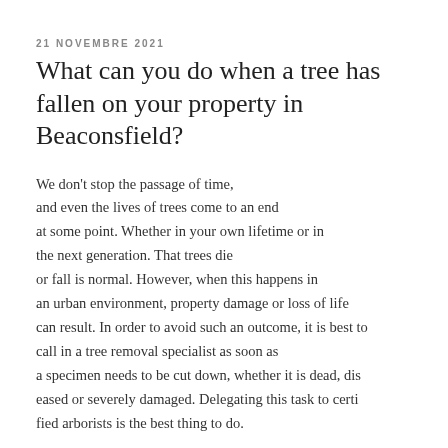21 NOVEMBRE 2021
What can you do when a tree has fallen on your property in Beaconsfield?
We don't stop the passage of time, and even the lives of trees come to an end at some point. Whether in your own lifetime or in the next generation. That trees die or fall is normal. However, when this happens in an urban environment, property damage or loss of life can result. In order to avoid such an outcome, it is best to call in a tree removal specialist as soon as a specimen needs to be cut down, whether it is dead, diseased or severely damaged. Delegating this task to certified arborists is the best thing to do.